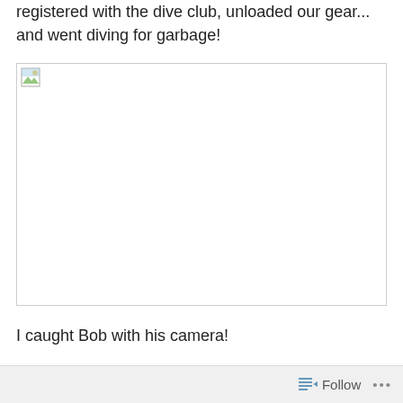registered with the dive club, unloaded our gear... and went diving for garbage!
[Figure (photo): Broken/missing image placeholder with small landscape icon in top-left corner]
I caught Bob with his camera!
Follow ...